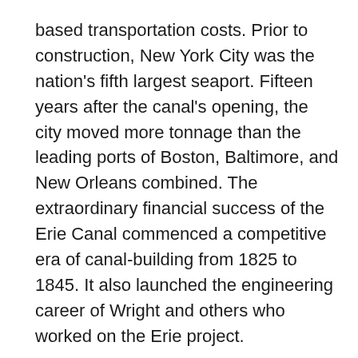based transportation costs. Prior to construction, New York City was the nation's fifth largest seaport. Fifteen years after the canal's opening, the city moved more tonnage than the leading ports of Boston, Baltimore, and New Orleans combined. The extraordinary financial success of the Erie Canal commenced a competitive era of canal-building from 1825 to 1845. It also launched the engineering career of Wright and others who worked on the Erie project.
Wright served as chief engineer of the Chesapeake and Ohio Canal from 1828 to 1831 and was consultant for the St. Lawrence Canal project in 1833. He also conducted surveys, and he also attended to other duties.